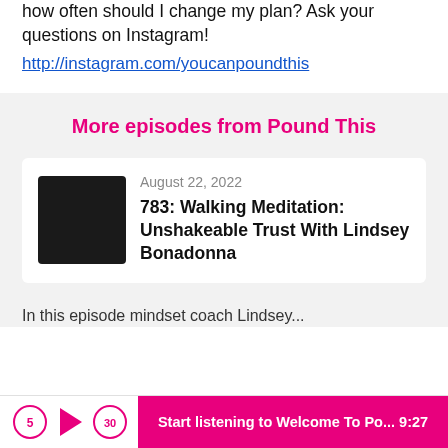how often should I change my plan? Ask your questions on Instagram!
http://instagram.com/youcanpoundthis
More episodes from Pound This
[Figure (illustration): Dark square podcast thumbnail image]
August 22, 2022
783: Walking Meditation: Unshakeable Trust With Lindsey Bonadonna
In this episode mindset coach Lindsey...
Start listening to Welcome To Po... 9:27